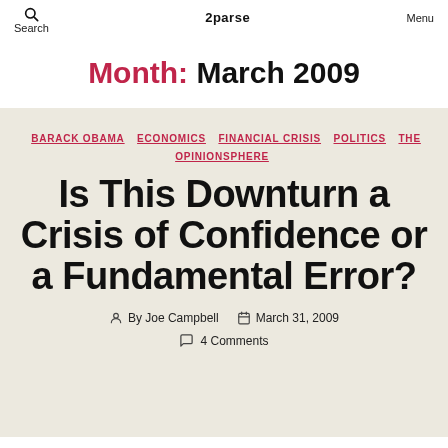Search   2parse   Menu
Month: March 2009
BARACK OBAMA   ECONOMICS   FINANCIAL CRISIS   POLITICS   THE OPINIONSPHERE
Is This Downturn a Crisis of Confidence or a Fundamental Error?
By Joe Campbell   March 31, 2009   4 Comments